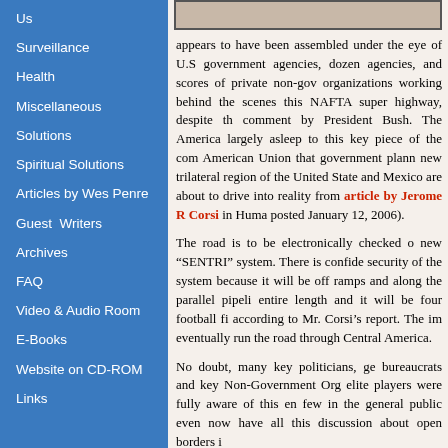Us
Surveillance
Health
Miscellaneous
Solutions
Spiritual Solutions
Articles by Wes Penre
Guest Writers
Archives
FAQ
Video & Audio Room
E-Books
Website on CD-ROM
Links
[Figure (other): Gray decorative header bar]
appears to have been assembled under the eye of U.S government agencies, dozen agencies, and scores of private non-gov organizations working behind the scenes this NAFTA super highway, despite th comment by President Bush. The America largely asleep to this key piece of the com American Union that government plann new trilateral region of the United State and Mexico are about to drive into reality from article by Jerome R Corsi in Huma posted January 12, 2006).
The road is to be electronically checked o new “SENTRI” system. There is confide security of the system because it will be off ramps and along the parallel pipeli entire length and it will be four football fi according to Mr. Corsi’s report. The im eventually run the road through Central America.
No doubt, many key politicians, ge bureaucrats and key Non-Government Org elite players were fully aware of this en few in the general public even now have all this discussion about open borders i